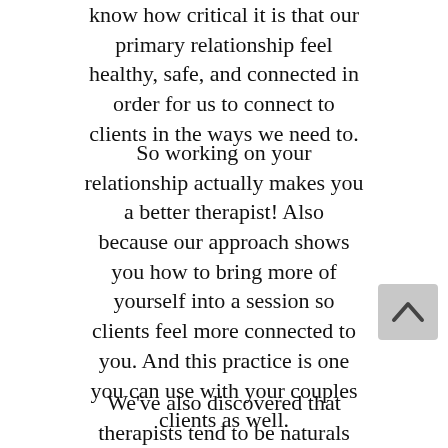know how critical it is that our primary relationship feel healthy, safe, and connected in order for us to connect to clients in the ways we need to.
So working on your relationship actually makes you a better therapist! Also because our approach shows you how to bring more of yourself into a session so clients feel more connected to you. And this practice is one you can use with your couples clients as well.
We've also discovered that therapists tend to be naturals